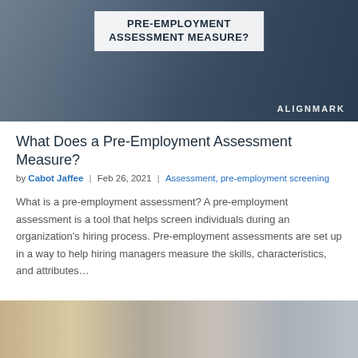[Figure (photo): Hero image showing people working at a desk with laptops, with a white overlay box containing the text 'PRE-EMPLOYMENT ASSESSMENT MEASURE?' and the ALIGNMARK brand watermark in the bottom right.]
What Does a Pre-Employment Assessment Measure?
by Cabot Jaffee | Feb 26, 2021 | Assessment, pre-employment screening
What is a pre-employment assessment? A pre-employment assessment is a tool that helps screen individuals during an organization's hiring process. Pre-employment assessments are set up in a way to help hiring managers measure the skills, characteristics, and attributes…
[Figure (photo): Bottom partial image showing two people, appears to be an interview or meeting scenario.]